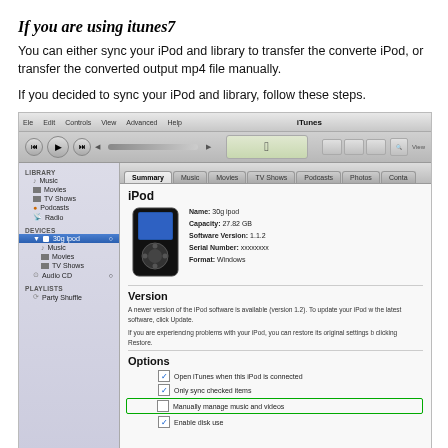If you are using itunes7
You can either sync your iPod and library to transfer the converted iPod, or transfer the converted output mp4 file manually.
If you decided to sync your iPod and library, follow these steps.
[Figure (screenshot): Screenshot of iTunes 7 application showing the iPod Summary tab with iPod device info (Name: 30g ipod, Capacity: 27.82 GB, Software Version: 1.1.2, Serial Number: xxxxxxxx, Format: Windows), Version section, and Options section with checkboxes including a green-bordered 'Manually manage music and videos' option.]